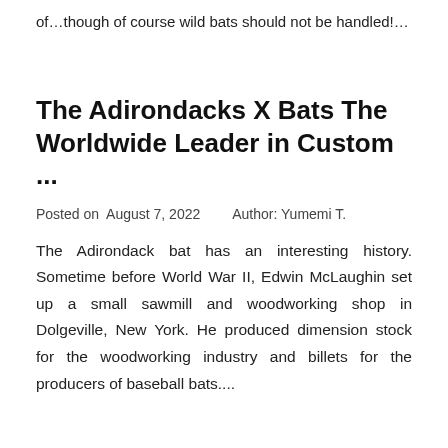of…though of course wild bats should not be handled!…
The Adirondacks X Bats The Worldwide Leader in Custom ...
Posted on  August 7, 2022    Author: Yumemi T.
The Adirondack bat has an interesting history. Sometime before World War II, Edwin McLaughin set up a small sawmill and woodworking shop in Dolgeville, New York. He produced dimension stock for the woodworking industry and billets for the producers of baseball bats....